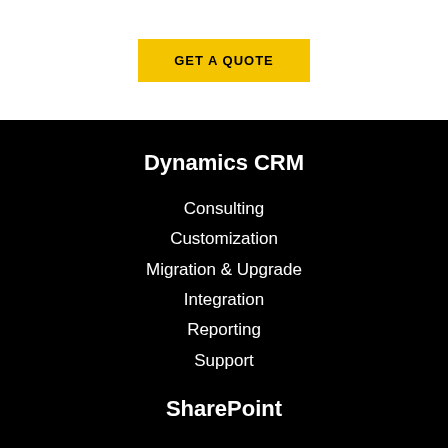GET A QUOTE
Dynamics CRM
Consulting
Customization
Migration & Upgrade
Integration
Reporting
Support
SharePoint